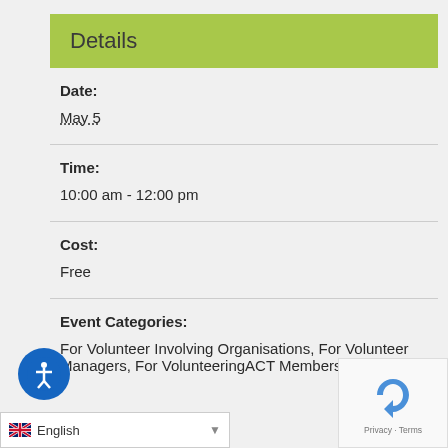Details
Date:
May 5
Time:
10:00 am - 12:00 pm
Cost:
Free
Event Categories:
For Volunteer Involving Organisations, For Volunteer Managers, For VolunteeringACT Members